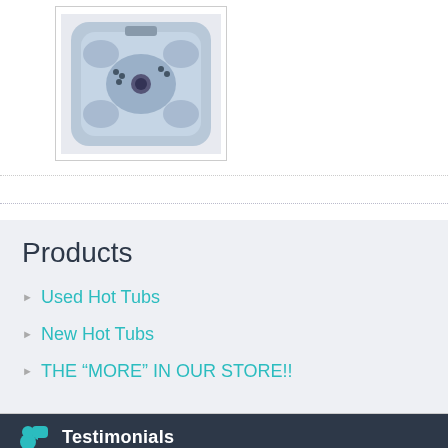[Figure (photo): Top-down view of a blue/grey hot tub with multiple seats and jets, shown in a white bordered box]
Products
Used Hot Tubs
New Hot Tubs
THE “MORE” IN OUR STORE!!
Testimonials